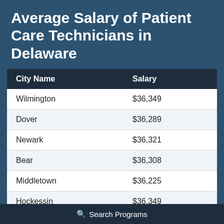Average Salary of Patient Care Technicians in Delaware
| City Name | Salary |
| --- | --- |
| Wilmington | $36,349 |
| Dover | $36,289 |
| Newark | $36,321 |
| Bear | $36,308 |
| Middletown | $36,225 |
| Hockessin | $36,349 |
| Smyrna | $36,250 |
Search Programs